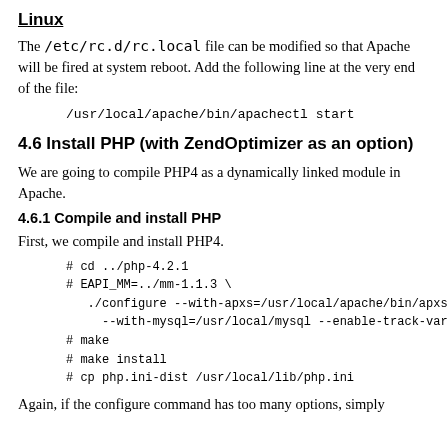Linux
The /etc/rc.d/rc.local file can be modified so that Apache will be fired at system reboot. Add the following line at the very end of the file:
/usr/local/apache/bin/apachectl start
4.6 Install PHP (with ZendOptimizer as an option)
We are going to compile PHP4 as a dynamically linked module in Apache.
4.6.1 Compile and install PHP
First, we compile and install PHP4.
# cd ../php-4.2.1
# EAPI_MM=../mm-1.1.3 \
  ./configure --with-apxs=/usr/local/apache/bin/apxs
    --with-mysql=/usr/local/mysql --enable-track-vars
# make
# make install
# cp php.ini-dist /usr/local/lib/php.ini
Again, if the configure command has too many options, simply